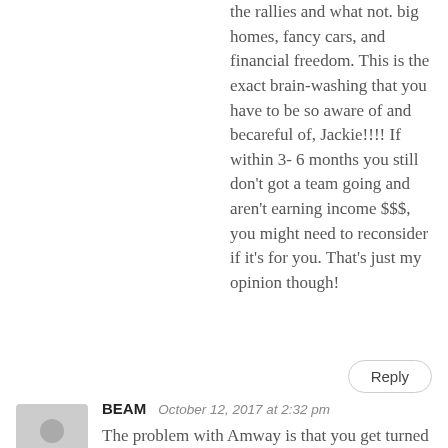the rallies and what not. big homes, fancy cars, and financial freedom. This is the exact brain-washing that you have to be so aware of and becareful of, Jackie!!!! If within 3- 6 months you still don't got a team going and aren't earning income $$$, you might need to reconsider if it's for you. That's just my opinion though!
Reply
BEAM   October 12, 2017 at 2:32 pm
The problem with Amway is that you get turned into an Amroid sooner or later. I did